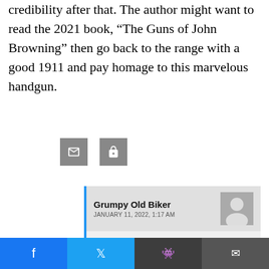credibility after that. The author might want to read the 2021 book, “The Guns of John Browning” then go back to the range with a good 1911 and pay homage to this marvelous handgun.
[Figure (other): Two small grey icon buttons (reply and share/forward icons)]
Grumpy Old Biker
JANUARY 11, 2022, 1:17 AM
Grumpy Old Guy... (no relation):
If you'd finished the article you would have seen that the author did just that. I, too, was disturbed at first by his admission that he like ...ut he came around.
f  ’  ๏  ✉